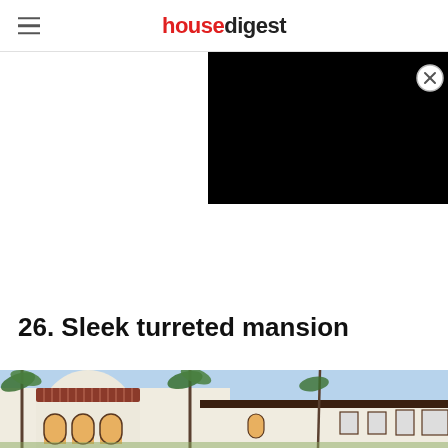housedigest
[Figure (screenshot): Black video player overlay in upper right portion of page]
26. Sleek turreted mansion
[Figure (photo): Exterior photo of a sleek turreted Mediterranean-style mansion with white stucco walls, arched windows, turret with decorative lattice top, palm trees and blue sky]